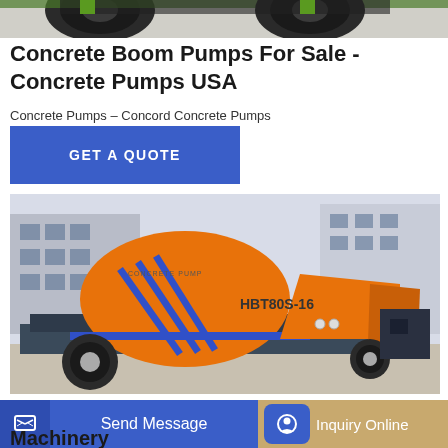[Figure (photo): Partial view of a large vehicle or machinery (tires visible at top of page)]
Concrete Boom Pumps For Sale - Concrete Pumps USA
Concrete Pumps – Concord Concrete Pumps
[Figure (infographic): Blue 'GET A QUOTE' button]
[Figure (photo): Orange concrete pump machine HBT80S-16 on a concrete surface with buildings in background]
om P
Machinery
Send Message
Inquiry Online